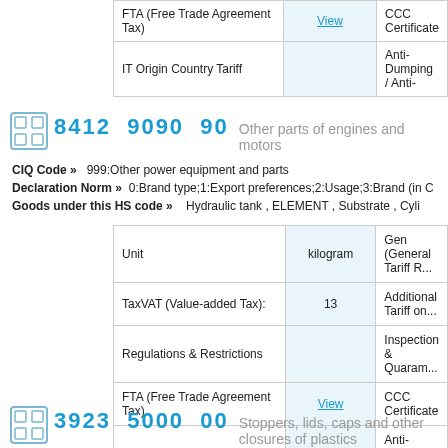|  |  |  |
| --- | --- | --- |
| FTA (Free Trade Agreement Tax) | View | CCC Certificate |
| IT Origin Country Tariff |  | Anti-Dumping / Anti-... |
[Figure (logo): HS code icon/logo box with grid symbol]
8412 9090 90   Other parts of engines and motors
CIQ Code »   999:Other power equipment and parts
Declaration Norm »   0:Brand type;1:Export preferences;2:Usage;3:Brand (in C...
Goods under this HS code »    Hydraulic tank , ELEMENT , Substrate , Cyli...
| Unit | kilogram | Gen (General Tariff R... |
| --- | --- | --- |
| TaxVAT (Value-added Tax): | 13 | Additional Tariff on... |
| Regulations & Restrictions |  | Inspection & Quaram... |
| FTA (Free Trade Agreement Tax) | View | CCC Certificate |
| IT Origin Country Tariff |  | Anti-Dumping / Anti-... |
[Figure (logo): HS code icon/logo box with grid symbol]
3923 5000 00   Stoppers, lids, caps and other closures of plastics